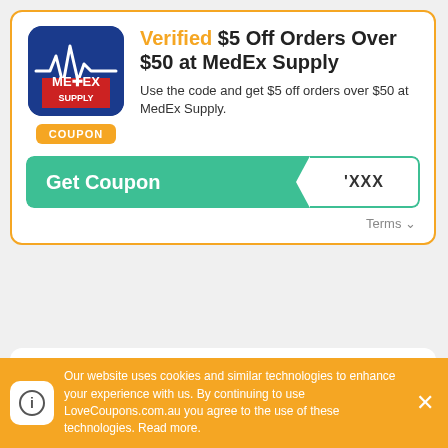[Figure (logo): MedEx Supply logo - red and blue icon with heartbeat line]
Verified $5 Off Orders Over $50 at MedEx Supply
Use the code and get $5 off orders over $50 at MedEx Supply.
Get Coupon | 'XXX
Terms
[Figure (logo): MedEx Supply logo - red and blue icon with heartbeat line]
Exercise Equipment Under $35,717.95 at MedEx
Our website uses cookies and similar technologies to enhance your experience with us. By continuing to use LoveCoupons.com.au you agree to the use of these technologies. Read more.